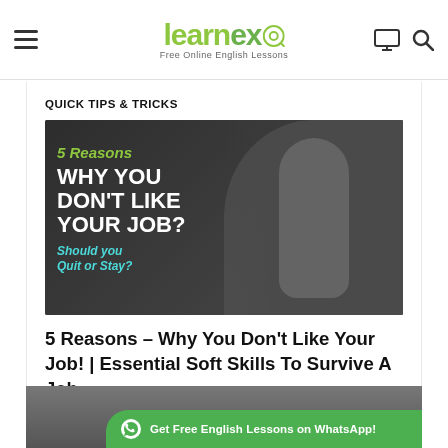learnex – Free Online English Lessons
QUICK TIPS & TRICKS
[Figure (photo): Thumbnail image for video: '5 Reasons WHY YOU DON'T LIKE YOUR JOB? Should you Quit or Stay?' showing a woman giving thumbs down on a dark background.]
5 Reasons – Why You Don't Like Your Job! | Essential Soft Skills To Survive A Job
[Figure (photo): Partial thumbnail of another article showing a person, with a green WhatsApp banner overlay reading 'Get Free English Lessons on WhatsApp!']